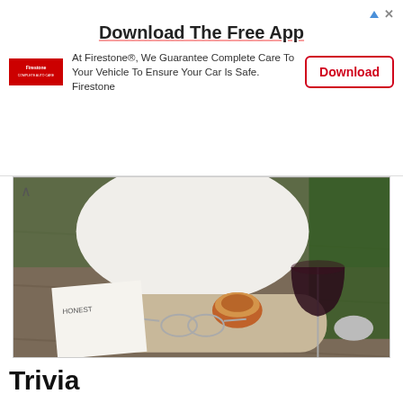[Figure (screenshot): Firestone advertisement banner with logo, title 'Download The Free App', descriptive text, and a Download button]
[Figure (photo): Photo of a wooden serving board with a bowl of food, a glass of red wine, sunglasses, and a menu/paper on a wooden table. A person in a white sweater is visible in the background.]
& here I thought a glass of wine a day kept the doctor away *boy was I wrong | coziest sweater: @storets
46  5  Share
Trivia